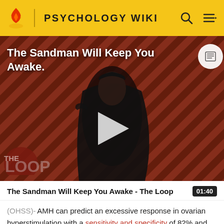PSYCHOLOGY WIKI
[Figure (screenshot): Video thumbnail showing a figure in black cape against striped red/dark background with 'The Sandman Will Keep You Awake.' title overlay and 'THE LOOP' logo at bottom. A play button is centered on the image.]
The Sandman Will Keep You Awake - The Loop  01:40
(OHSS)- AMH can predict an excessive response in ovarian hyperstimulation with a sensitivity and specificity of 82% and 76%, respectively.[22]